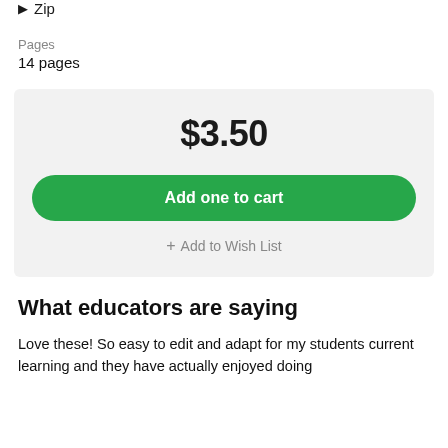Zip
Pages
14 pages
$3.50
Add one to cart
+ Add to Wish List
What educators are saying
Love these! So easy to edit and adapt for my students current learning and they have actually enjoyed doing